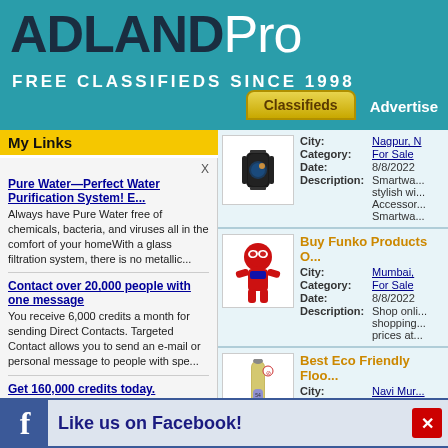ADLANDPro FREE CLASSIFIEDS SINCE 1998
My Links
Pure Water—Perfect Water Purification System! E...
Always have Pure Water free of chemicals, bacteria, and viruses all in the comfort of your homeWith a glass filtration system, there is no metallic...
Contact over 20,000 people with one message
You receive 6,000 credits a month for sending Direct Contacts. Targeted Contact allows you to send an e-mail or personal message to people with spe...
Get 160,000 credits today.
The Adlandpro Traffic Exchange Program. Drive traffic to your business by putting it in front of millions of Active Users!
[Figure (photo): Smartwatch product image]
City: Nagpur, N
Category: For Sale
Date: 8/8/2022
Description: Smartwa... stylish wi... Accessor... Smartwa...
[Figure (photo): Funko Pop Spider-Man product image]
Buy Funko Products O...
City: Mumbai,
Category: For Sale
Date: 8/8/2022
Description: Shop onli... shopping... prices at...
[Figure (photo): Eco friendly floor cleaner bottle]
Best Eco Friendly Floo...
City: Navi Mur...
Category: For Sale
Date: 8/6/2022
Description: Finishol 5... safe for y... disinfects... laminat...
[Figure (photo): X Ray Food Inspection product image]
X Ray Food Inspection...
City: Pune, Ma...
Category: For Sale
Like us on Facebook!